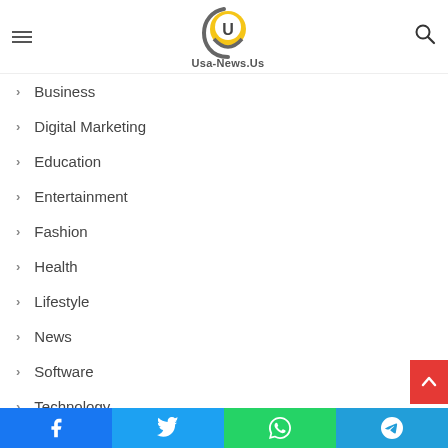Usa-News.Us
Business
Digital Marketing
Education
Entertainment
Fashion
Health
Lifestyle
News
Software
Technology
Website
Facebook Twitter WhatsApp Telegram